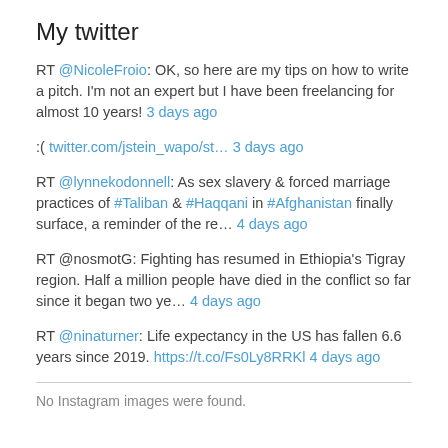My twitter
RT @NicoleFroio: OK, so here are my tips on how to write a pitch. I'm not an expert but I have been freelancing for almost 10 years! 3 days ago
:( twitter.com/jstein_wapo/st… 3 days ago
RT @lynnekodonnell: As sex slavery & forced marriage practices of #Taliban & #Haqqani in #Afghanistan finally surface, a reminder of the re… 4 days ago
RT @nosmotG: Fighting has resumed in Ethiopia's Tigray region. Half a million people have died in the conflict so far since it began two ye… 4 days ago
RT @ninaturner: Life expectancy in the US has fallen 6.6 years since 2019. https://t.co/Fs0Ly8RRKl 4 days ago
No Instagram images were found.